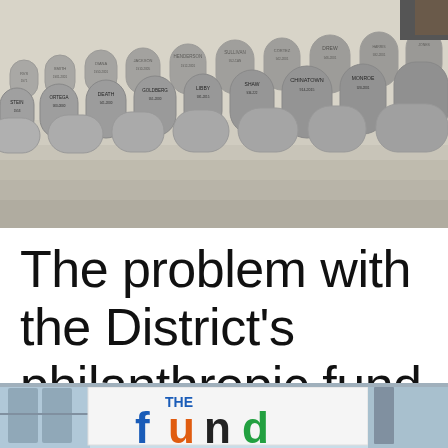[Figure (photo): Rows of grey tombstone-shaped cardboard cutouts with names and dates written on them, arranged on steps outdoors.]
The problem with the District's philanthropic fund for literacy
[Figure (photo): A sign reading 'THE fund' with colorful letters (blue 'f', orange 'u', green 'nd') in what appears to be a school or community building interior.]